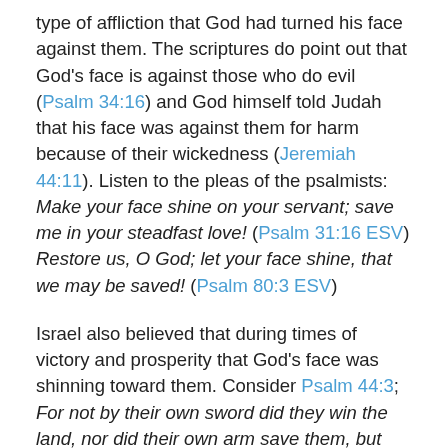type of affliction that God had turned his face against them. The scriptures do point out that God's face is against those who do evil (Psalm 34:16) and God himself told Judah that his face was against them for harm because of their wickedness (Jeremiah 44:11). Listen to the pleas of the psalmists: Make your face shine on your servant; save me in your steadfast love! (Psalm 31:16 ESV) Restore us, O God; let your face shine, that we may be saved! (Psalm 80:3 ESV)
Israel also believed that during times of victory and prosperity that God's face was shinning toward them. Consider Psalm 44:3; For not by their own sword did they win the land, nor did their own arm save them, but your right hand and your arm, and the light of your face, for you delighted in them. (ESV) When seeking a blessing the psalmist implored God to shine his face